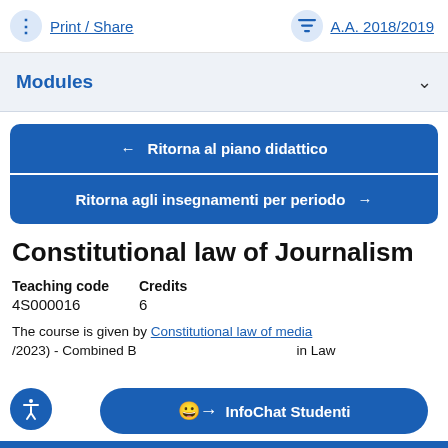Print / Share   A.A. 2018/2019
Modules
← Ritorna al piano didattico
Ritorna agli insegnamenti per periodo →
Constitutional law of Journalism
Teaching code
4S000016
Credits
6
The course is given by Constitutional law of media /2023) - Combined B in Law